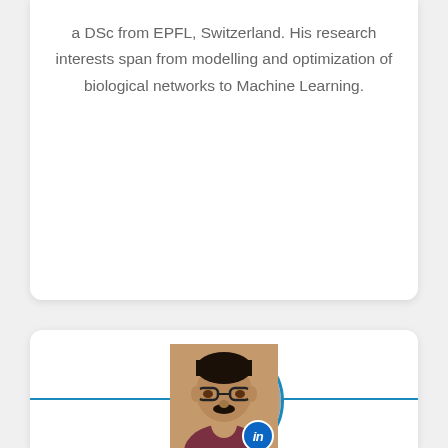a DSc from EPFL, Switzerland. His research interests span from modelling and optimization of biological networks to Machine Learning.
[Figure (photo): Circular profile photo of Dr. Babji Srinivasan with a LinkedIn badge icon overlay, positioned above a horizontal blue dividing line on a white card.]
Dr. Babji Srinivasan
Associate Professor at IIT Madras